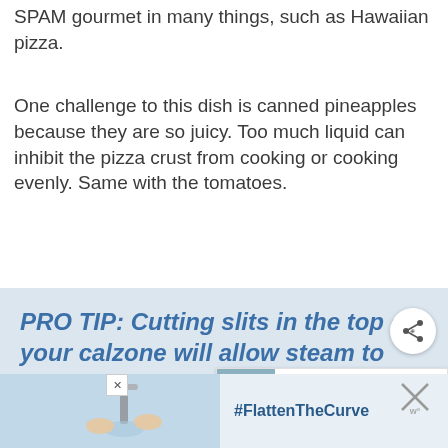SPAM gourmet in many things, such as Hawaiian pizza.
One challenge to this dish is canned pineapples because they are so juicy. Too much liquid can inhibit the pizza crust from cooking or cooking evenly. Same with the tomatoes.
PRO TIP: Cutting slits in the top of your calzone will allow steam to release, making it
[Figure (screenshot): Ad banner with #FlattenTheCurve hashtag and handwashing image]
[Figure (screenshot): What's Next widget showing Creamy White Hot Chocolate]